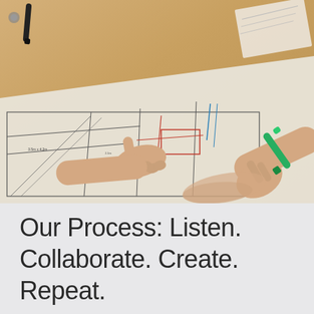[Figure (photo): Two people's hands reviewing and pointing at architectural or engineering blueprints/floor plans on a table. One hand holds a green marker. The plans show detailed line drawings of a building layout.]
Our Process: Listen. Collaborate. Create. Repeat.